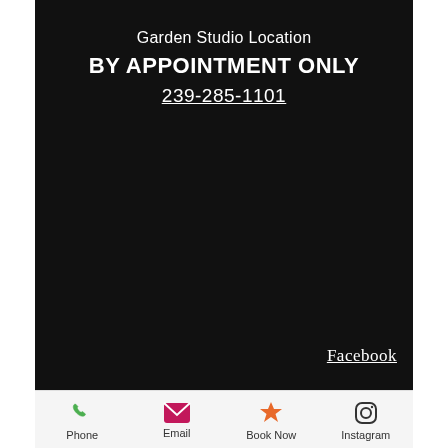Garden Studio Location
BY APPOINTMENT ONLY
239-285-1101
Facebook
Phone
Email
Book Now
Instagram